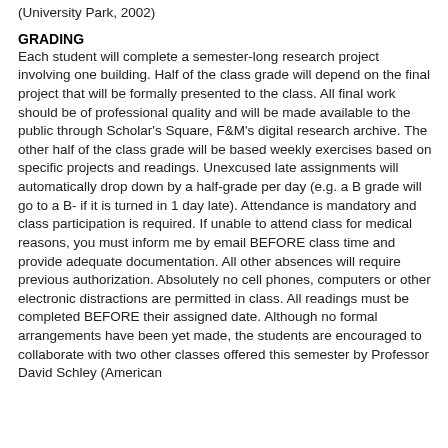(University Park, 2002)
GRADING
Each student will complete a semester-long research project involving one building. Half of the class grade will depend on the final project that will be formally presented to the class. All final work should be of professional quality and will be made available to the public through Scholar's Square, F&M's digital research archive. The other half of the class grade will be based weekly exercises based on specific projects and readings. Unexcused late assignments will automatically drop down by a half-grade per day (e.g. a B grade will go to a B- if it is turned in 1 day late). Attendance is mandatory and class participation is required. If unable to attend class for medical reasons, you must inform me by email BEFORE class time and provide adequate documentation. All other absences will require previous authorization. Absolutely no cell phones, computers or other electronic distractions are permitted in class. All readings must be completed BEFORE their assigned date. Although no formal arrangements have been yet made, the students are encouraged to collaborate with two other classes offered this semester by Professor David Schley (American ...